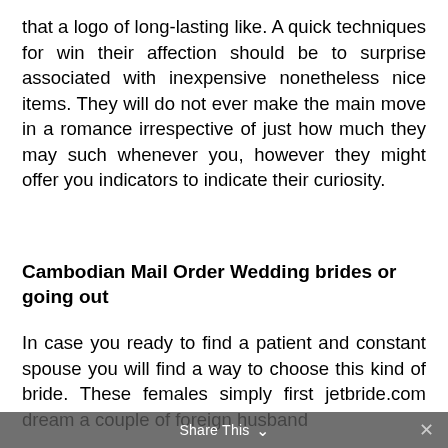that a logo of long-lasting like. A quick techniques for win their affection should be to surprise associated with inexpensive nonetheless nice items. They will do not ever make the main move in a romance irrespective of just how much they may such whenever you, however they might offer you indicators to indicate their curiosity.
Cambodian Mail Order Wedding brides or going out
In case you ready to find a patient and constant spouse you will find a way to choose this kind of bride. These females simply first jetbride.com dream a couple of foreign husband
[Figure (screenshot): Cookie consent popup overlay with purple background. Text reads: 'A honlap további használatához a sütik használatát el kell fogadni.' with a 'További információ' link and 'Elfogad' button.]
Share This